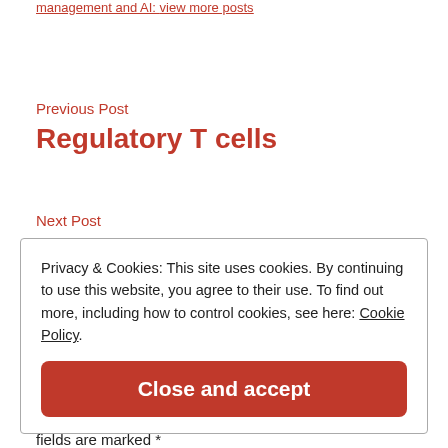management and AI: view more posts
Previous Post
Regulatory T cells
Next Post
Privacy & Cookies: This site uses cookies. By continuing to use this website, you agree to their use. To find out more, including how to control cookies, see here: Cookie Policy
Close and accept
fields are marked *